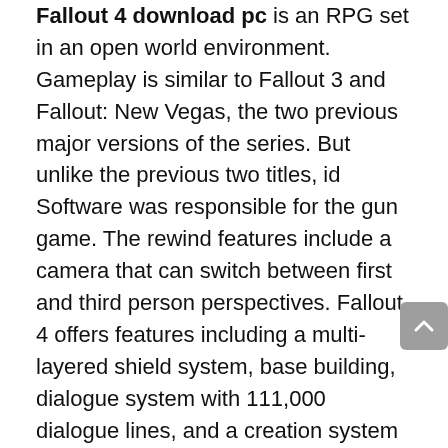Fallout 4 download pc is an RPG set in an open world environment. Gameplay is similar to Fallout 3 and Fallout: New Vegas, the two previous major versions of the series. But unlike the previous two titles, id Software was responsible for the gun game. The rewind features include a camera that can switch between first and third person perspectives. Fallout 4 offers features including a multi-layered shield system, base building, dialogue system with 111,000 dialogue lines, and a creation system that implements all the lootable items in the game. Enemies like mole rats, invaders, miraculous mutants, death claws, and brutal ghouls return with their companion, Dogmeat.
The Fallout 4 Free download Full Version player has the ability to freely roam the game world and leave a conversation at any time. If the player detects a specific location, he can quickly navigate to it. Weapons can also